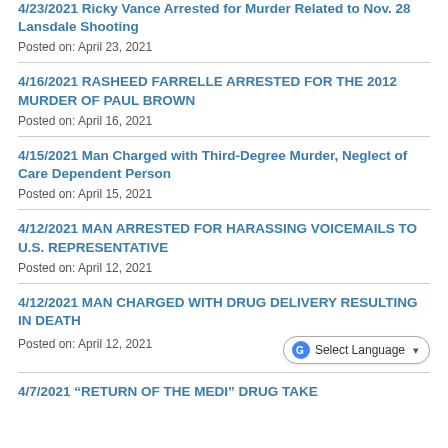4/23/2021 Ricky Vance Arrested for Murder Related to Nov. 28 Lansdale Shooting
Posted on: April 23, 2021
4/16/2021 RASHEED FARRELLE ARRESTED FOR THE 2012 MURDER OF PAUL BROWN
Posted on: April 16, 2021
4/15/2021 Man Charged with Third-Degree Murder, Neglect of Care Dependent Person
Posted on: April 15, 2021
4/12/2021 MAN ARRESTED FOR HARASSING VOICEMAILS TO U.S. REPRESENTATIVE
Posted on: April 12, 2021
4/12/2021 MAN CHARGED WITH DRUG DELIVERY RESULTING IN DEATH
Posted on: April 12, 2021
4/7/2021 “RETURN OF THE MEDI” DRUG TAKE